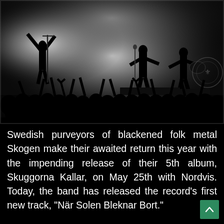[Figure (photo): Black and white concert photo showing silhouetted performers on stage with dramatic backlighting and smoke, crowd with raised hands in the foreground, and a circular logo visible on the right side.]
Swedish purveyors of blackened folk metal Skogen make their awaited return this year with the impending release of their 5th album, Skuggorna Kallar, on May 25th with Nordvis. Today, the band has released the record's first new track, “När Solen Bleknar Bort.”